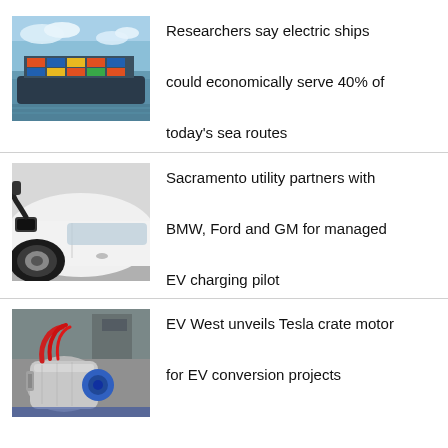[Figure (photo): Large cargo/container ship at sea with blue sky and colorful shipping containers]
Researchers say electric ships could economically serve 40% of today's sea routes
[Figure (photo): White electric vehicle being charged, showing wheel and charging port with cable]
Sacramento utility partners with BMW, Ford and GM for managed EV charging pilot
[Figure (photo): Tesla crate motor with red wiring and metallic cylindrical housing, industrial setting]
EV West unveils Tesla crate motor for EV conversion projects